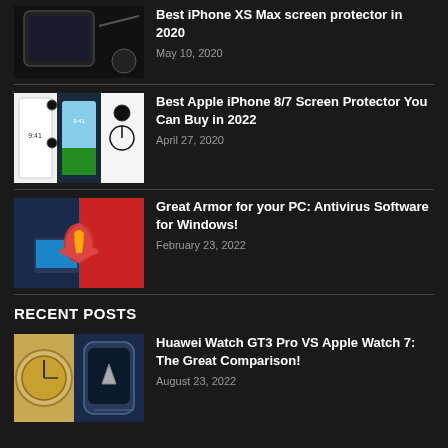[Figure (photo): Dark background with phone/screen protector image - top article thumbnail]
Best iPhone XS Max screen protector in 2020
May 10, 2020
[Figure (photo): iPhone 8/7 screen protector packaging and phone display showing 9:41]
Best Apple iPhone 8/7 Screen Protector You Can Buy in 2022
April 27, 2020
[Figure (photo): Antivirus concept image: red devil/virus breaking through laptop screen]
Great Armor for your PC: Antivirus Software for Windows!
February 23, 2022
RECENT POSTS
[Figure (photo): Huawei Watch GT3 Pro and Apple Watch 7 side by side comparison]
Huawei Watch GT3 Pro VS Apple Watch 7: The Great Comparison!
August 23, 2022